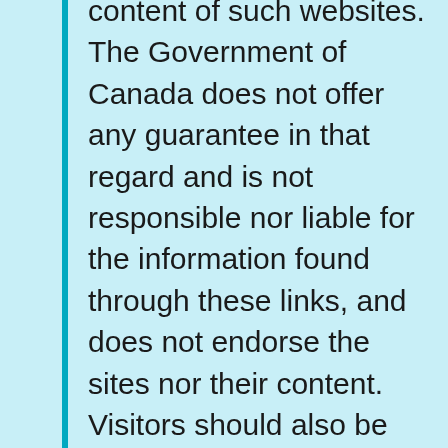content of such websites. The Government of Canada does not offer any guarantee in that regard and is not responsible nor liable for the information found through these links, and does not endorse the sites nor their content. Visitors should also be aware that the information offered by non-Government of Canada sites to which this website links is not subject to the Privacy Act or the Official Languages Act and may